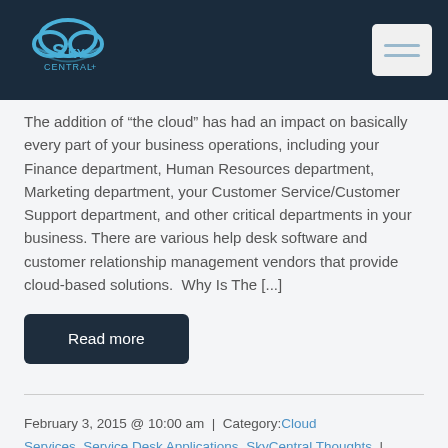SkyCentral+ logo and navigation menu
The addition of “the cloud” has had an impact on basically every part of your business operations, including your Finance department, Human Resources department, Marketing department, your Customer Service/Customer Support department, and other critical departments in your business. There are various help desk software and customer relationship management vendors that provide cloud-based solutions. Why Is The [...]
Read more
February 3, 2015 @ 10:00 am | Category:Cloud Services, Service Desk Applications, SkyCentral Thoughts | Tagged as: Automation, cloud, cloud computing, digital transformation, IT solutions, service desk, skycentral